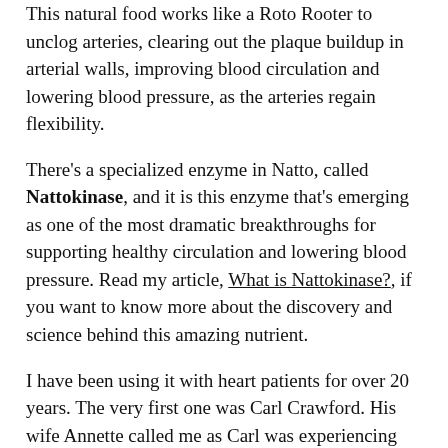This natural food works like a Roto Rooter to unclog arteries, clearing out the plaque buildup in arterial walls, improving blood circulation and lowering blood pressure, as the arteries regain flexibility.
There's a specialized enzyme in Natto, called Nattokinase, and it is this enzyme that's emerging as one of the most dramatic breakthroughs for supporting healthy circulation and lowering blood pressure. Read my article, What is Nattokinase?, if you want to know more about the discovery and science behind this amazing nutrient.
I have been using it with heart patients for over 20 years. The very first one was Carl Crawford. His wife Annette called me as Carl was experiencing chest pains when working outside and tired all the time. His doctor found that all three arteries supplying blood to the heart had clogged up!